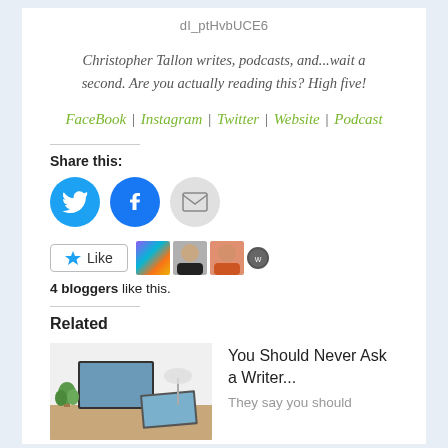dI_ptHvbUCE6
Christopher Tallon writes, podcasts, and...wait a second. Are you actually reading this? High five!
FaceBook | Instagram | Twitter | Website | Podcast
Share this:
[Figure (infographic): Three circular share buttons: Twitter (blue), Facebook (blue), and Email (gray)]
[Figure (infographic): Like button with star icon and 4 blogger avatar thumbnails]
4 bloggers like this.
Related
[Figure (photo): Photo of a desk with monitor, laptop, lamp and plant]
You Should Never Ask a Writer...
They say you should